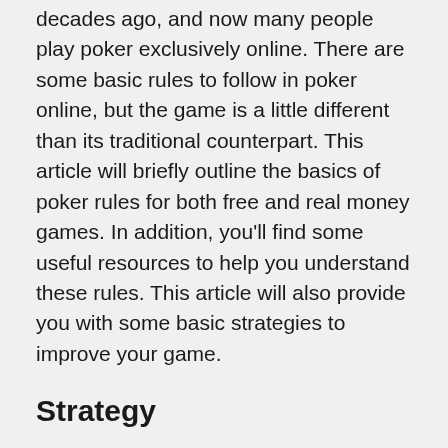decades ago, and now many people play poker exclusively online. There are some basic rules to follow in poker online, but the game is a little different than its traditional counterpart. This article will briefly outline the basics of poker rules for both free and real money games. In addition, you'll find some useful resources to help you understand these rules. This article will also provide you with some basic strategies to improve your game.
Strategy
If you want to improve your poker game, then you must learn poker strategy. It will make you a better player. Even a casual player who has never played the game before can turn into a winner with some poker strategy. New players often overlook basic poker strategies but these are crucial to understanding the